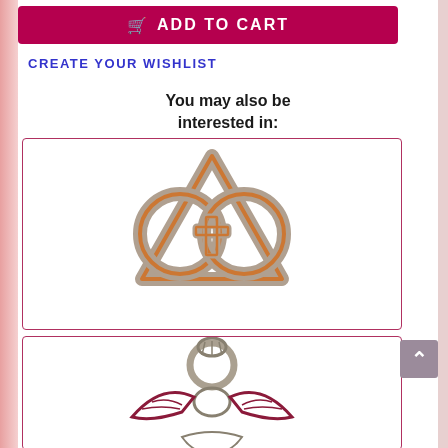ADD TO CART
CREATE YOUR WISHLIST
You may also be interested in:
[Figure (illustration): Religious symbol: interlocking triangle and circles forming a trefoil-like shape in orange/brown and silver/grey, with a cross in the center. Decorative religious emblem.]
[Figure (illustration): Partial view of another religious emblem in dark red/maroon and silver/grey, featuring a shell shape at top, bird/pelican figure in center, partially cut off at bottom of page.]